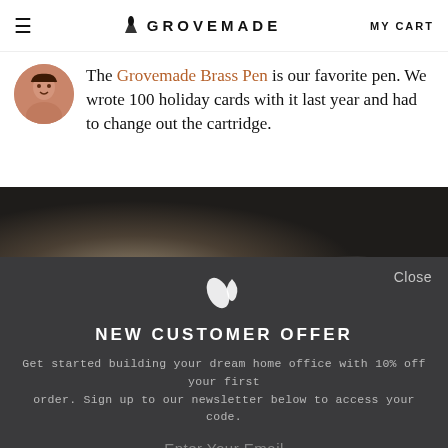≡  GROVEMADE  MY CART
The Grovemade Brass Pen is our favorite pen. We wrote 100 holiday cards with it last year and had to change out the cartridge.
[Figure (photo): Dark background product lifestyle photo of a pen/desk item]
NEW CUSTOMER OFFER
Get started building your dream home office with 10% off your first order. Sign up to our newsletter below to access your code.
Enter Your Email
GET CODE